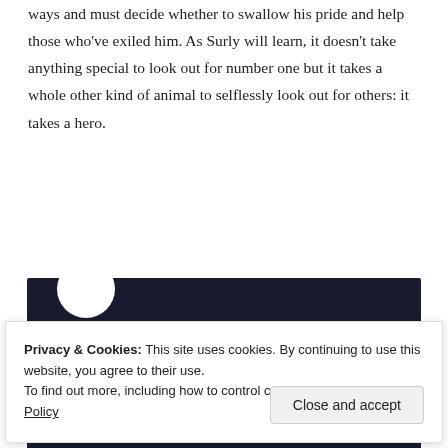ways and must decide whether to swallow his pride and help those who've exiled him. As Surly will learn, it doesn't take anything special to look out for number one but it takes a whole other kind of animal to selflessly look out for others: it takes a hero.
[Figure (screenshot): Dark navy advertisement banner for launching an online course with WordPress. Contains teal/green heading text 'Launch your online course with WordPress' and a teal rounded 'Learn More' button.]
Privacy & Cookies: This site uses cookies. By continuing to use this website, you agree to their use.
To find out more, including how to control cookies, see here: Cookie Policy
Close and accept